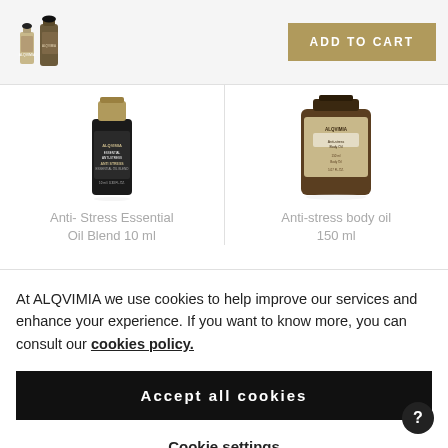[Figure (logo): Two ALQVIMIA product bottles logo image in top left]
[Figure (other): ADD TO CART button in gold/tan color]
[Figure (photo): ALQVIMIA Anti-Stress Essential Oil Blend 10ml dark bottle with gold cap]
Anti- Stress Essential Oil Blend 10 ml
[Figure (photo): ALQVIMIA Anti-stress body oil 150ml brown bottle]
Anti-stress body oil 150 ml
At ALQVIMIA we use cookies to help improve our services and enhance your experience. If you want to know more, you can consult our cookies policy.
Accept all cookies
Cookie settings